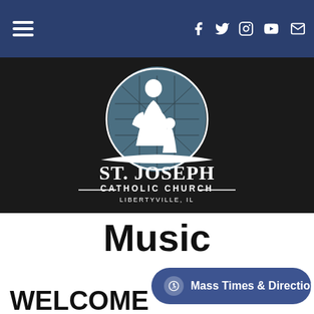Navigation bar with hamburger menu and social icons (Facebook, Twitter, Instagram, YouTube, Email)
[Figure (logo): St. Joseph Catholic Church logo: figure of St. Joseph with child, circular stained-glass window background, text reading ST. JOSEPH CATHOLIC CHURCH LIBERTYVILLE, IL on black background]
Music
WELCOME TO THE MUSIC M
Mass Times & Directions